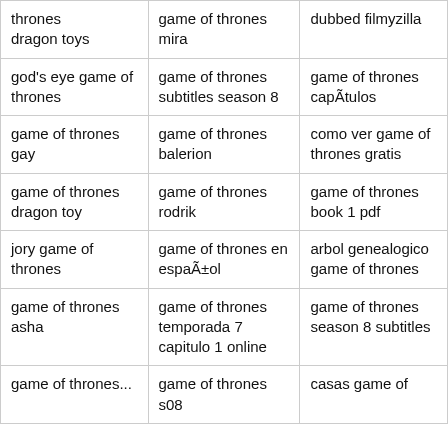| thrones
dragon toys | game of thrones mira | dubbed filmyzilla |
| god's eye game of thrones | game of thrones subtitles season 8 | game of thrones capÃ­tulos |
| game of thrones gay | game of thrones balerion | como ver game of thrones gratis |
| game of thrones dragon toy | game of thrones rodrik | game of thrones book 1 pdf |
| jory game of thrones | game of thrones en espaÃ±ol | arbol genealogico game of thrones |
| game of thrones asha | game of thrones temporada 7 capitulo 1 online | game of thrones season 8 subtitles |
| game of thrones... | game of thrones s08 | casas game of |